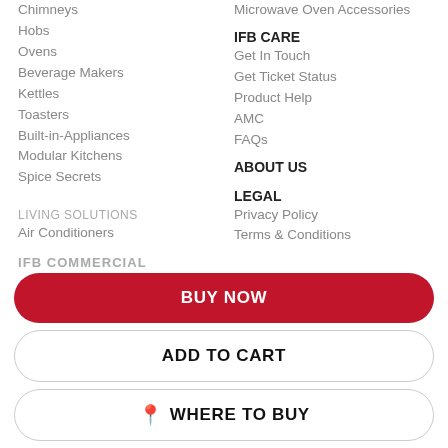Chimneys
Hobs
Ovens
Beverage Makers
Kettles
Toasters
Built-in-Appliances
Modular Kitchens
Spice Secrets
LIVING SOLUTIONS
Air Conditioners
Microwave Oven Accessories
IFB CARE
Get In Touch
Get Ticket Status
Product Help
AMC
FAQs
ABOUT US
LEGAL
Privacy Policy
Terms & Conditions
IFB's e-waste Policy
IFB COMMERCIAL
BUY NOW
ADD TO CART
WHERE TO BUY